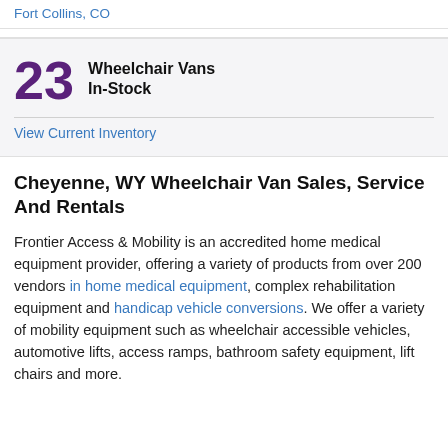Fort Collins, CO
23 Wheelchair Vans In-Stock
View Current Inventory
Cheyenne, WY Wheelchair Van Sales, Service And Rentals
Frontier Access & Mobility is an accredited home medical equipment provider, offering a variety of products from over 200 vendors in home medical equipment, complex rehabilitation equipment and handicap vehicle conversions. We offer a variety of mobility equipment such as wheelchair accessible vehicles, automotive lifts, access ramps, bathroom safety equipment, lift chairs and more.